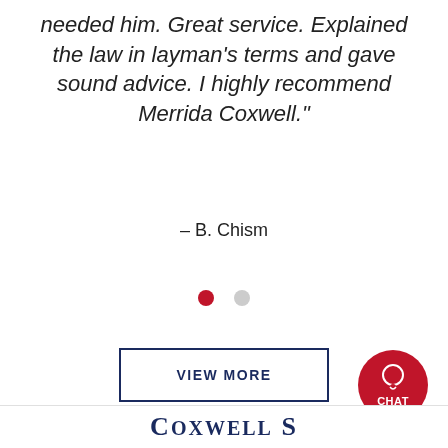needed him. Great service. Explained the law in layman's terms and gave sound advice. I highly recommend Merrida Coxwell."
– B. Chism
[Figure (other): Two dots: one red (active) and one gray (inactive), indicating a carousel/slider position indicator]
VIEW MORE
Submit a Law Firm Client Review
[Figure (other): Red circular chat button with CHAT label]
COXWELL S